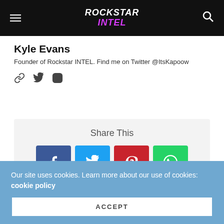ROCKSTAR INTEL
Kyle Evans
Founder of Rockstar INTEL. Find me on Twitter @ItsKapoow
[Figure (infographic): Social media icons: link, Twitter, Instagram]
Share This
[Figure (infographic): Share buttons: Facebook, Twitter, Pinterest, WhatsApp]
PREVIOUS ARTICLE
Rockstar Games pisses the Red Dead Online community off even more with a new event month
Our site uses cookies. Learn more about our use of cookies: cookie policy
ACCEPT